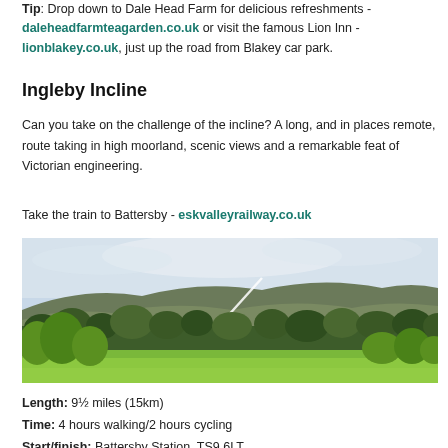Tip: Drop down to Dale Head Farm for delicious refreshments - daleheadfarmteagarden.co.uk or visit the famous Lion Inn - lionblakey.co.uk, just up the road from Blakey car park.
Ingleby Incline
Can you take on the challenge of the incline? A long, and in places remote, route taking in high moorland, scenic views and a remarkable feat of Victorian engineering.
Take the train to Battersby - eskvalleyrailway.co.uk
[Figure (photo): Landscape photograph of Ingleby Incline showing a hillside with a path/incline running up the slope, surrounded by green trees in the foreground and moorland/hills in the background under a cloudy sky.]
Length: 9½ miles (15km)
Time: 4 hours walking/2 hours cycling
Start/finish: Battersby Station, TS9 6LT